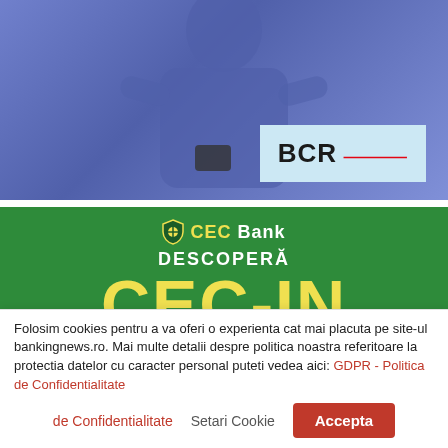[Figure (photo): BCR bank advertisement banner showing a person holding a phone with a blue tinted background and BCR logo in bottom right corner]
[Figure (illustration): CEC Bank advertisement banner with green background showing 'DESCOPERA CEC-IN MAGAZINUL ONLINE CEC BANK' text in yellow and white with a 'COMANDA ONLINE' button]
Folosim cookies pentru a va oferi o experienta cat mai placuta pe site-ul bankingnews.ro. Mai multe detalii despre politica noastra referitoare la protectia datelor cu caracter personal puteti vedea aici: GDPR - Politica de Confidentialitate
Setari Cookie
Accepta